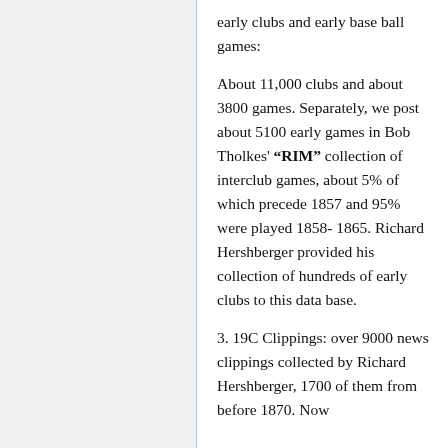early clubs and early base ball games:
About 11,000 clubs and about 3800 games. Separately, we post about 5100 early games in Bob Tholkes' “RIM” collection of interclub games, about 5% of which precede 1857 and 95% were played 1858- 1865. Richard Hershberger provided his collection of hundreds of early clubs to this data base.
3. 19C Clippings: over 9000 news clippings collected by Richard Hershberger, 1700 of them from before 1870. Now